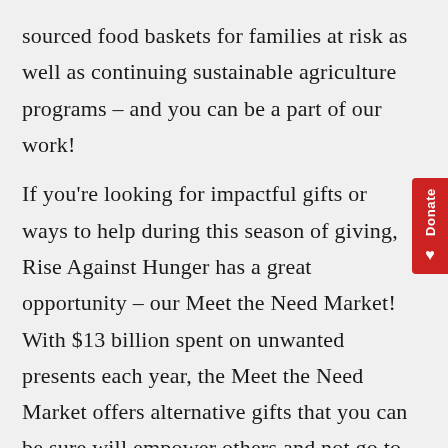sourced food baskets for families at risk as well as continuing sustainable agriculture programs – and you can be a part of our work!

If you're looking for impactful gifts or ways to help during this season of giving, Rise Against Hunger has a great opportunity – our Meet the Need Market! With $13 billion spent on unwanted presents each year, the Meet the Need Market offers alternative gifts that you can be sure will empower others and not go to waste.